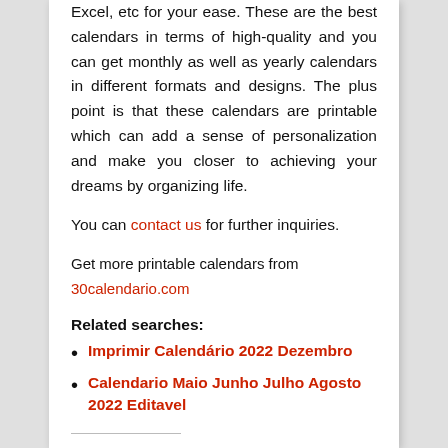Excel, etc for your ease. These are the best calendars in terms of high-quality and you can get monthly as well as yearly calendars in different formats and designs. The plus point is that these calendars are printable which can add a sense of personalization and make you closer to achieving your dreams by organizing life.
You can contact us for further inquiries.
Get more printable calendars from 30calendario.com
Related searches:
Imprimir Calendário 2022 Dezembro
Calendario Maio Junho Julho Agosto 2022 Editavel